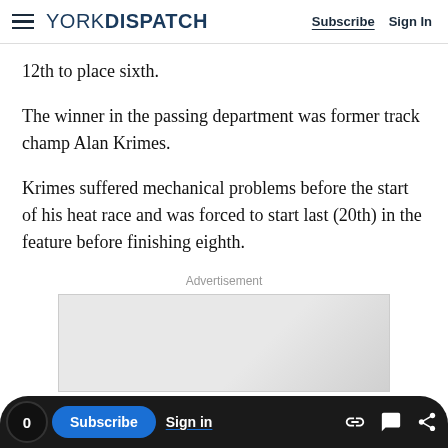YORK DISPATCH | Subscribe | Sign In
12th to place sixth.
The winner in the passing department was former track champ Alan Krimes.
Krimes suffered mechanical problems before the start of his heat race and was forced to start last (20th) in the feature before finishing eighth.
Advertisement
[Figure (other): Advertisement placeholder box]
0 | Subscribe | Sign in